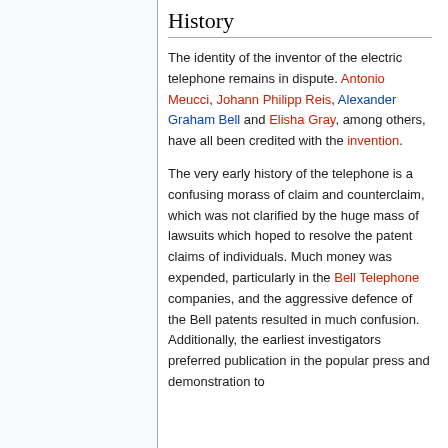History
The identity of the inventor of the electric telephone remains in dispute. Antonio Meucci, Johann Philipp Reis, Alexander Graham Bell and Elisha Gray, among others, have all been credited with the invention.
The very early history of the telephone is a confusing morass of claim and counterclaim, which was not clarified by the huge mass of lawsuits which hoped to resolve the patent claims of individuals. Much money was expended, particularly in the Bell Telephone companies, and the aggressive defence of the Bell patents resulted in much confusion. Additionally, the earliest investigators preferred publication in the popular press and demonstration to